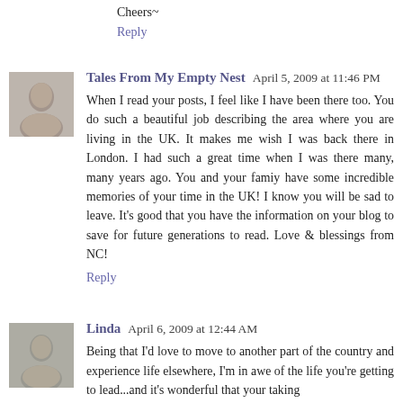Cheers~
Reply
Tales From My Empty Nest  April 5, 2009 at 11:46 PM
When I read your posts, I feel like I have been there too. You do such a beautiful job describing the area where you are living in the UK. It makes me wish I was back there in London. I had such a great time when I was there many, many years ago. You and your famiy have some incredible memories of your time in the UK! I know you will be sad to leave. It's good that you have the information on your blog to save for future generations to read. Love & blessings from NC!
Reply
Linda  April 6, 2009 at 12:44 AM
Being that I'd love to move to another part of the country and experience life elsewhere, I'm in awe of the life you're getting to lead...and it's wonderful that your taking